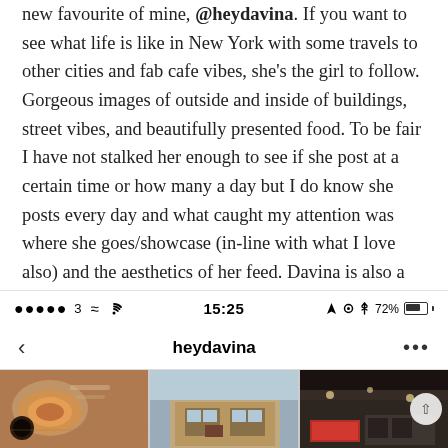new favourite of mine, @heydavina. If you want to see what life is like in New York with some travels to other cities and fab cafe vibes, she's the girl to follow. Gorgeous images of outside and inside of buildings, street vibes, and beautifully presented food. To be fair I have not stalked her enough to see if she post at a certain time or how many a day but I do know she posts every day and what caught my attention was where she goes/showcase (in-line with what I love also) and the aesthetics of her feed. Davina is also a very engaged Instagrammer and this is also why I enjoy interacting with her daily on Instagram.
[Figure (screenshot): Mobile phone status bar showing signal dots, '3', wifi icon, time 15:25, location arrow, settings icon, bluetooth icon, 72% battery]
[Figure (screenshot): Instagram profile navigation bar showing back arrow, username 'heydavina', and three dots menu]
[Figure (screenshot): Instagram profile photo grid showing three photos: food/soup flatlay, brick building exterior, dark interior cafe/bar scene]